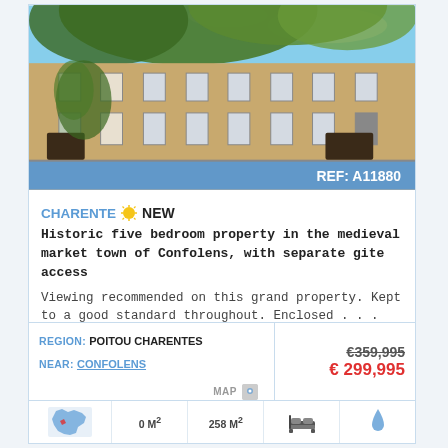[Figure (photo): Photograph of a historic French stone building with ivy-covered walls, multiple windows with shutters, and tree branches overhead. The property is in Confolens, Charente, France.]
REF: A11880
CHARENTE ☀ NEW
Historic five bedroom property in the medieval market town of Confolens, with separate gite access
Viewing recommended on this grand property. Kept to a good standard throughout. Enclosed . . .
REGION: POITOU CHARENTES
NEAR: CONFOLENS
MAP
€359,995
€ 299,995
0 M²
258 M²